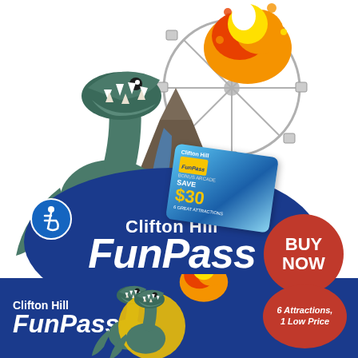[Figure (illustration): Clifton Hill FunPass advertisement showing a T-Rex dinosaur, ferris wheel, volcanic explosion with fire, and a FunPass card against a white background]
Clifton Hill FunPass
SAVE $30
BUY NOW
6 Top Attractions • 1 Low Price
Clifton Hill FunPass
6 Attractions, 1 Low Price